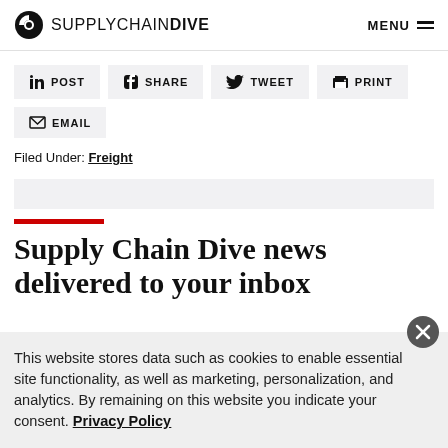SUPPLYCHAINDIVE  MENU
POST
SHARE
TWEET
PRINT
EMAIL
Filed Under: Freight
Supply Chain Dive news delivered to your inbox
This website stores data such as cookies to enable essential site functionality, as well as marketing, personalization, and analytics. By remaining on this website you indicate your consent. Privacy Policy